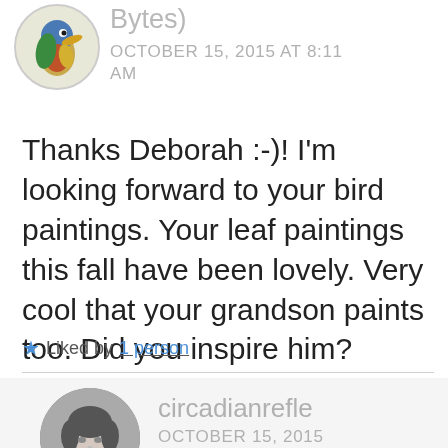[Figure (illustration): Circular avatar of a colorful bird (kingfisher-like) with blue, red, and yellow plumage, in a round portrait style]
Bytes) OCTOBER 15, 2015 AT 8:11 AM
Thanks Deborah :-)! I’m looking forward to your bird paintings. Your leaf paintings this fall have been lovely. Very cool that your grandson paints too. Did you inspire him?
★ Liked by 1 person
[Figure (photo): Black and white circular portrait photo of a woman with short dark hair]
circadianrefle OCTOBER 15, 2015